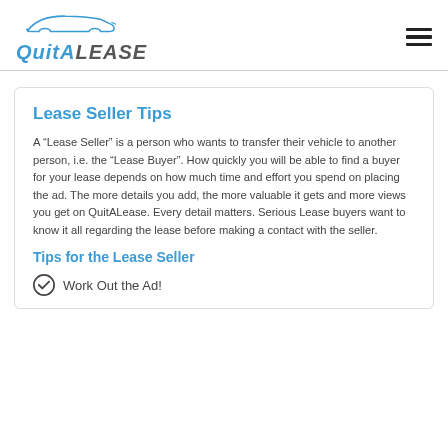QuitALease logo and navigation
Lease Seller Tips
A “Lease Seller” is a person who wants to transfer their vehicle to another person, i.e. the “Lease Buyer”. How quickly you will be able to find a buyer for your lease depends on how much time and effort you spend on placing the ad. The more details you add, the more valuable it gets and more views you get on QuitALease. Every detail matters. Serious Lease buyers want to know it all regarding the lease before making a contact with the seller.
Tips for the Lease Seller
Work Out the Ad!